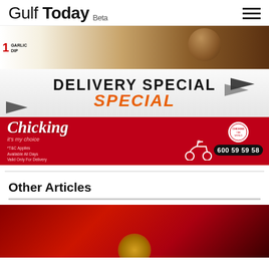Gulf Today Beta
[Figure (photo): Food advertisement banner showing fried chicken with garlic dip label, part of a Chicking Delivery Special promotion]
[Figure (infographic): Chicking restaurant advertisement banner with red background showing brand name, tagline 'it's my choice', terms and conditions, and phone number 600 59 59 58]
Other Articles
[Figure (photo): Partial image with dark red background, beginning of an article preview image]